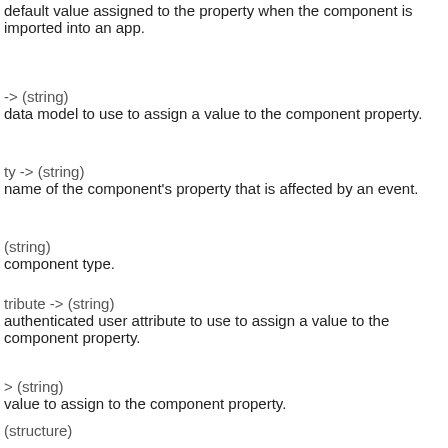default value assigned to the property when the component is imported into an app.
-> (string)
data model to use to assign a value to the component property.
ty -> (string)
name of the component's property that is affected by an event.
(string)
component type.
tribute -> (string)
authenticated user attribute to use to assign a value to the component property.
> (string)
value to assign to the component property.
(structure)